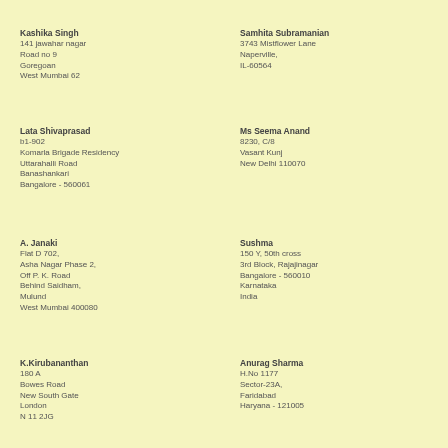Kashika Singh
141 jawahar nagar
Road no 9
Goregoan
West Mumbai 62
Samhita Subramanian
3743 Mistflower Lane
Naperville,
IL-60564
Lata Shivaprasad
b1-902
Komarla Brigade Residency
Uttarahalli Road
Banashankari
Bangalore - 560061
Ms Seema Anand
8230, C/8
Vasant Kunj
New Delhi 110070
A. Janaki
Flat D 702,
Asha Nagar Phase 2,
Off P. K. Road
Behind Saidham,
Mulund
West Mumbai 400080
Sushma
150 Y, 50th cross
3rd Block, Rajajinagar
Bangalore - 560010
Karnataka
India
K.Kirubananthan
180 A
Bowes Road
New South Gate
London
N 11 2JG
Anurag Sharma
H.No 1177
Sector-23A,
Faridabad
Haryana - 121005